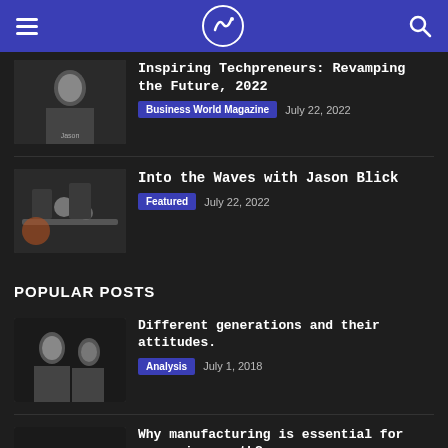Navigation header with hamburger menu, logo, and search icon
Inspiring Techpreneurs: Revamping the Future, 2022
Business World Magazine  July 22, 2022
Into the Waves with Jason Blick
Featured  July 22, 2022
POPULAR POSTS
Different generations and their attitudes.
Analysis  July 1, 2018
Why manufacturing is essential for economic growth?
Industrial  July 29, 2018